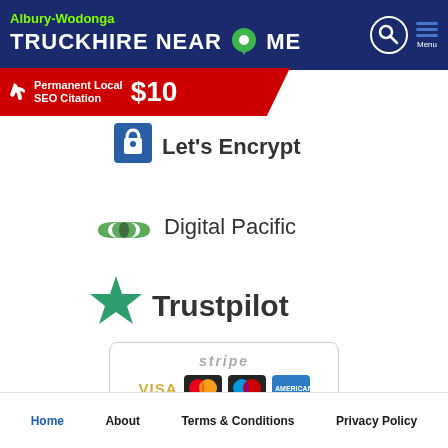Albury-Wodonga TRUCKHIRE NEAR ME
[Figure (logo): Red banner ad: Permanent Local SEO Citation $10]
[Figure (logo): Let's Encrypt logo with padlock icon]
[Figure (logo): Digital Pacific logo - green chain link icon with text]
[Figure (logo): Trustpilot logo with green star]
[Figure (logo): Stripe payment logos: VISA, MasterCard, Maestro, American Express]
Home   About   Terms & Conditions   Privacy Policy